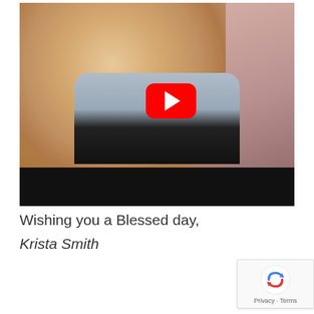[Figure (photo): Video thumbnail showing a smiling blonde woman wearing a black vest over a light blue shirt with a necklace, against a pink/salmon background. A YouTube play button overlay is centered on the image. The bottom portion of the thumbnail is a black bar.]
Wishing you a Blessed day,
Krista Smith